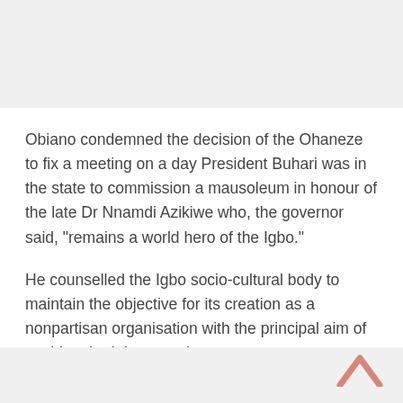Obiano condemned the decision of the Ohaneze to fix a meeting on a day President Buhari was in the state to commission a mausoleum in honour of the late Dr Nnamdi Azikiwe who, the governor said, "remains a world hero of the Igbo."
He counselled the Igbo socio-cultural body to maintain the objective for its creation as a nonpartisan organisation with the principal aim of pushing the Igbo agenda.
[Figure (illustration): A salmon/pink colored upward-pointing chevron arrow icon in the bottom right corner.]